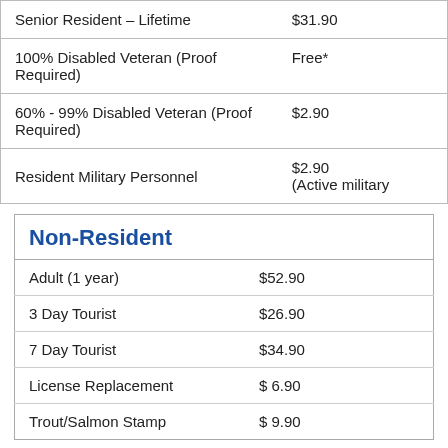| License Type | Fee |
| --- | --- |
| Senior Resident – Lifetime | $31.90 |
| 100% Disabled Veteran (Proof Required) | Free* |
| 60% - 99% Disabled Veteran (Proof Required) | $2.90 |
| Resident Military Personnel | $2.90
(Active military |
| Non-Resident |  |
| --- | --- |
| Adult (1 year) | $52.90 |
| 3 Day Tourist | $26.90 |
| 7 Day Tourist | $34.90 |
| License Replacement | $ 6.90 |
| Trout/Salmon Stamp | $ 9.90 |
*Issued only by the county treasurer's office and the